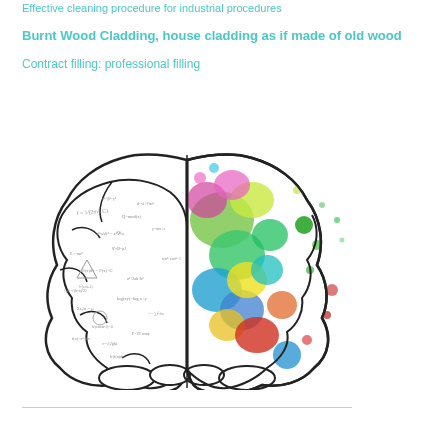Effective cleaning procedure for industrial procedures
Burnt Wood Cladding, house cladding as if made of old wood
Contract filling: professional filling
[Figure (illustration): Illustration of a human brain split in two halves: left half shown in black and white with mathematical formulas and equations written over it, right half shown in vibrant colorful paint splashes (green, yellow, blue, red, pink) representing creativity vs logic.]